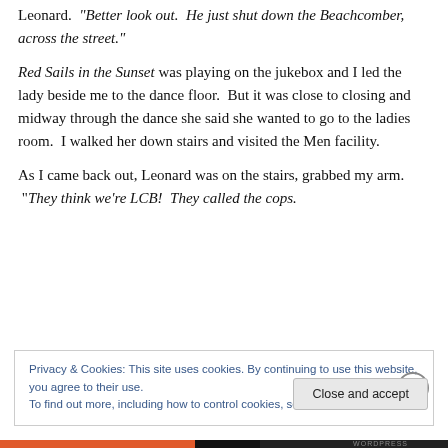Leonard.  "Better look out.  He just shut down the Beachcomber, across the street."
Red Sails in the Sunset was playing on the jukebox and I led the lady beside me to the dance floor.  But it was close to closing and midway through the dance she said she wanted to go to the ladies room.  I walked her down stairs and visited the Men facility.
As I came back out, Leonard was on the stairs, grabbed my arm.  "They think we're LCB!  They called the cops.
Privacy & Cookies: This site uses cookies. By continuing to use this website, you agree to their use.
To find out more, including how to control cookies, see here: Cookie Policy
Close and accept